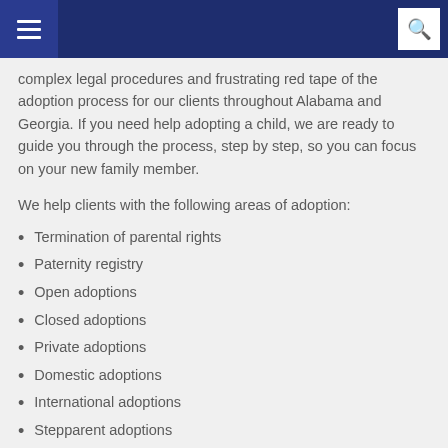Navigation bar with hamburger menu and search icon
complex legal procedures and frustrating red tape of the adoption process for our clients throughout Alabama and Georgia. If you need help adopting a child, we are ready to guide you through the process, step by step, so you can focus on your new family member.
We help clients with the following areas of adoption:
Termination of parental rights
Paternity registry
Open adoptions
Closed adoptions
Private adoptions
Domestic adoptions
International adoptions
Stepparent adoptions
Our family law attorneys provide reliable counsel throughout the adoption process.